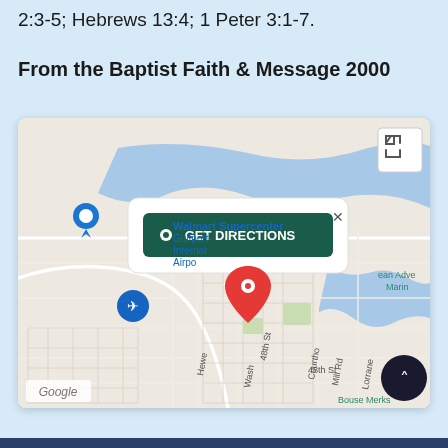2:3-5; Hebrews 13:4; 1 Peter 3:1-7.
From the Baptist Faith & Message 2000
[Figure (map): Google Maps screenshot showing a location pin in Gulfport area near Gulfport-International Airport and Walmart Supercenter, with a GET DIRECTIONS button overlay and a scroll-up button.]